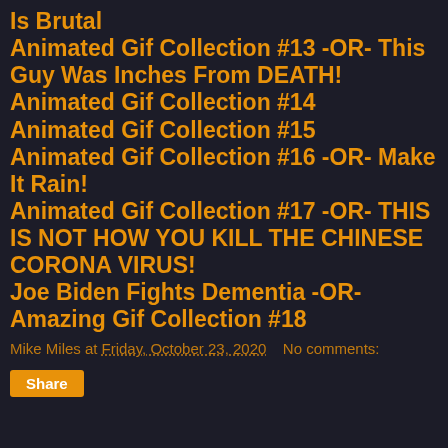Is Brutal
Animated Gif Collection #13 -OR- This Guy Was Inches From DEATH!
Animated Gif Collection #14
Animated Gif Collection #15
Animated Gif Collection #16 -OR- Make It Rain!
Animated Gif Collection #17 -OR- THIS IS NOT HOW YOU KILL THE CHINESE CORONA VIRUS!
Joe Biden Fights Dementia -OR- Amazing Gif Collection #18
Mike Miles at Friday, October 23, 2020    No comments:
Share